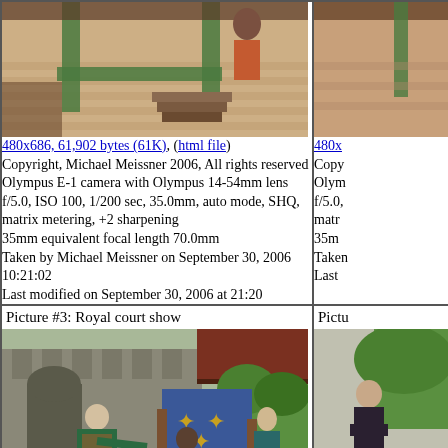[Figure (photo): Top portion of a photograph showing a medieval/Renaissance fair stage with green structural beams and brick/stone wall background, partial view of a person]
[Figure (photo): Partial right-side photo, similar Renaissance fair scene]
480x686, 61,902 bytes (61K), (html file)
Copyright, Michael Meissner 2006, All rights reserved
Olympus E-1 camera with Olympus 14-54mm lens
f/5.0, ISO 100, 1/200 sec, 35.0mm, auto mode, SHQ, matrix metering, +2 sharpening
35mm equivalent focal length 70.0mm
Taken by Michael Meissner on September 30, 2006 10:21:02
Last modified on September 30, 2006 at 21:20
480x... Copy... Olym... f/5.0... matr... 35m... Taken... Last...
Picture #3: Royal court show
Pictu...
[Figure (photo): Royal court show at Renaissance fair: performers in medieval costumes on an outdoor stage with stone castle backdrop and blue heraldic banner with gold fleur-de-lis]
[Figure (photo): Partial right photo of Renaissance fair performer in dark dress standing]